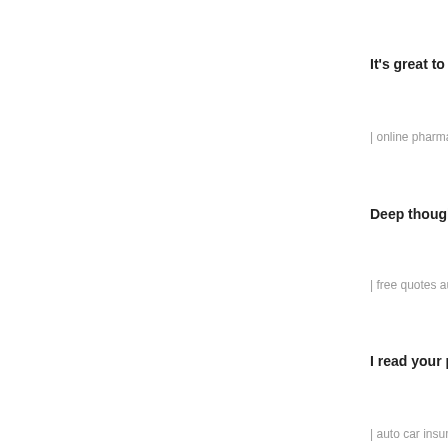It's great to read som
| online pharmacy levi
Deep thought! Than
| free quotes auto insu
I read your post and
| auto car insurance qu
You get a lot of resp
| fleet insurance cheap
The ability to think l
| affordable car insura
I literally jumped ou
| auto insurance quote
It's spooky how clev
| healthcare insurance